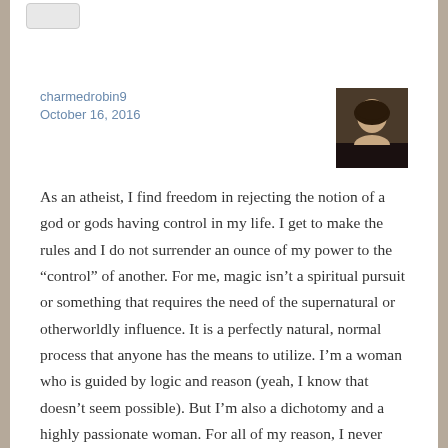[Figure (photo): A small profile photo of a woman with short dark hair wearing a dark jacket, used as a user avatar.]
charmedrobin9
October 16, 2016
As an atheist, I find freedom in rejecting the notion of a god or gods having control in my life. I get to make the rules and I do not surrender an ounce of my power to the “control” of another. For me, magic isn’t a spiritual pursuit or something that requires the need of the supernatural or otherworldly influence. It is a perfectly natural, normal process that anyone has the means to utilize. I’m a woman who is guided by logic and reason (yeah, I know that doesn’t seem possible). But I’m also a dichotomy and a highly passionate woman. For all of my reason, I never really lost touch with my inner child or inner eccentric